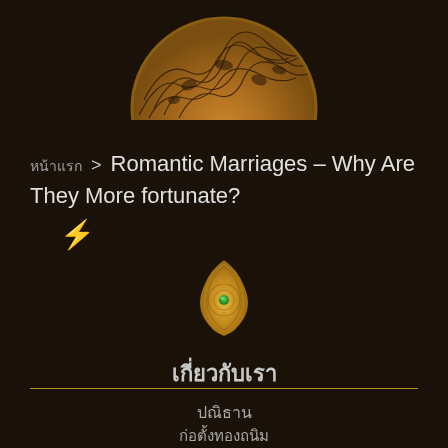[Figure (illustration): Thai decorative circular golden artwork with intricate phoenix/mythological patterns on dark background, partially visible at top]
หน้าแรก > Romantic Marriages – Why Are They More fortunate?
[Figure (illustration): Yellow/gold lightning bolt emoji]
[Figure (illustration): Thai golden teardrop-shaped ornamental jewelry piece with green gem center]
เกี่ยวกับเรา
ปณิธาน
ก่อตั้งทองถนิม